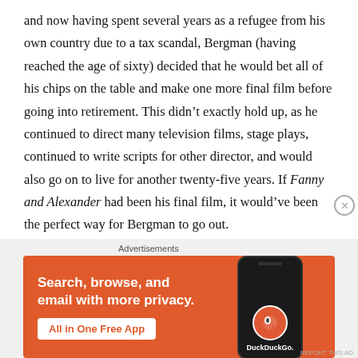and now having spent several years as a refugee from his own country due to a tax scandal, Bergman (having reached the age of sixty) decided that he would bet all of his chips on the table and make one more final film before going into retirement. This didn't exactly hold up, as he continued to direct many television films, stage plays, continued to write scripts for other director, and would also go on to live for another twenty-five years. If Fanny and Alexander had been his final film, it would've been the perfect way for Bergman to go out.

At once tender, sweet and funny but also disturbing, scary and provocative, Fanny and Alexander feels, in some ways, like the
[Figure (other): DuckDuckGo advertisement banner with orange background. Text reads 'Search, browse, and email with more privacy. All in One Free App' with a phone mockup showing the DuckDuckGo logo.]